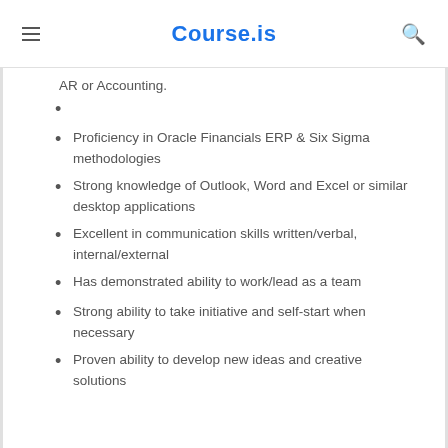Course.is
AR or Accounting.
Proficiency in Oracle Financials ERP & Six Sigma methodologies
Strong knowledge of Outlook, Word and Excel or similar desktop applications
Excellent in communication skills written/verbal, internal/external
Has demonstrated ability to work/lead as a team
Strong ability to take initiative and self-start when necessary
Proven ability to develop new ideas and creative solutions